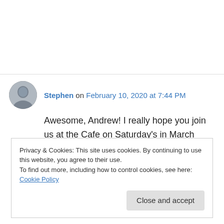Stephen on February 10, 2020 at 7:44 PM
Awesome, Andrew! I really hope you join us at the Cafe on Saturday's in March when we will be starting up a new Prose Writing Workshop!

Very grateful for your guest post!
Privacy & Cookies: This site uses cookies. By continuing to use this website, you agree to their use.
To find out more, including how to control cookies, see here: Cookie Policy